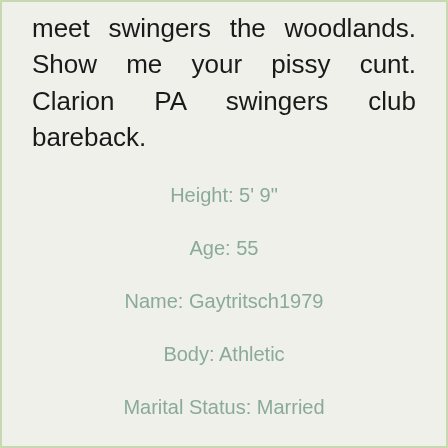meet swingers the woodlands. Show me your pissy cunt. Clarion PA swingers club bareback.
Height: 5' 9"
Age: 55
Name: Gaytritsch1979
Body: Athletic
Marital Status: Married
Hair: Red